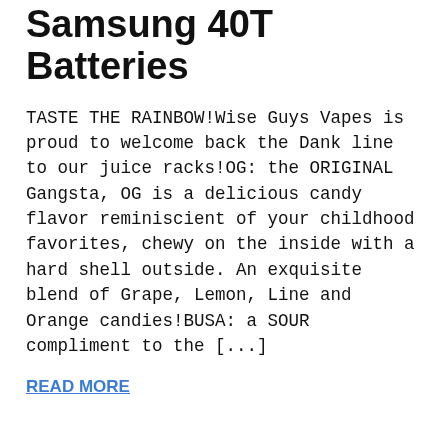Samsung 40T Batteries
TASTE THE RAINBOW!Wise Guys Vapes is proud to welcome back the Dank line to our juice racks!OG: the ORIGINAL Gangsta, OG is a delicious candy flavor reminiscient of your childhood favorites, chewy on the inside with a hard shell outside. An exquisite blend of Grape, Lemon, Line and Orange candies!BUSA: a SOUR compliment to the [...]
READ MORE
November 16, 2018
WGV New Products 11/16 - Aegis Mini Kit | Profile RDA | Crown 4
Wise Guys Vapes is proud to welcome in the new Aegis